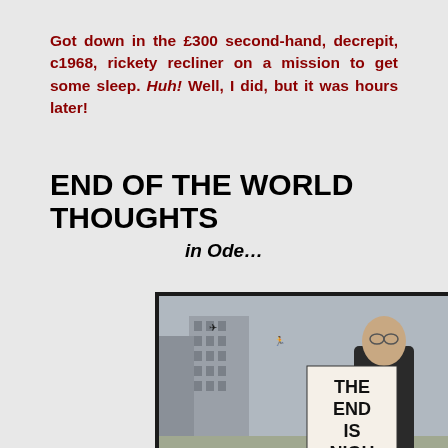Got down in the £300 second-hand, decrepit, c1968, rickety recliner on a mission to get some sleep. Huh! Well, I did, but it was hours later!
END OF THE WORLD THOUGHTS
in Ode…
[Figure (photo): A man in dark clothing holding a sign reading 'THE END IS NIGH' in an urban setting with buildings in the background and small figures flying in the sky.]